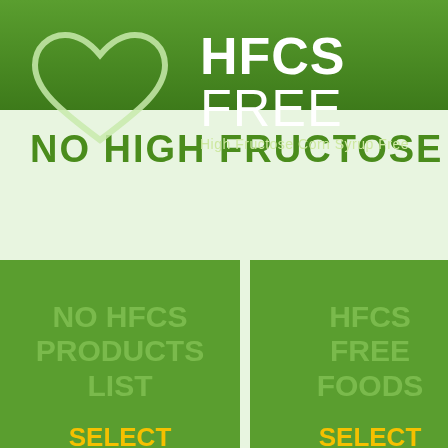[Figure (infographic): Green ribbon banner at top with HFCS FREE logo and heart shape outline. Below are three green rectangular boxes with text: 'NO HFCS PRODUCTS LIST / SELECT FROM LIST', 'HFCS FREE FOODS / SELECT IMAGE', and a third partially visible box.]
HFCS FREE
High Fructose Corn Syrup Free
NO HIGH FRUCTOSE CORN
NO HFCS PRODUCTS LIST
SELECT FROM LIST
HFCS FREE FOODS
SELECT IMAGE